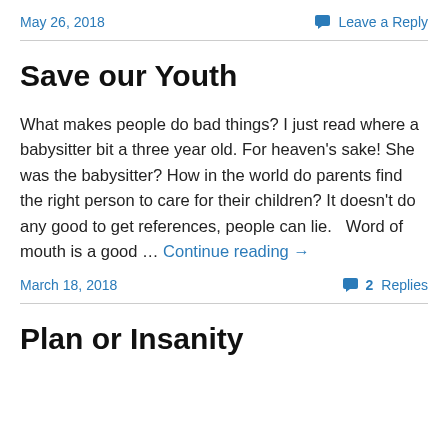May 26, 2018    Leave a Reply
Save our Youth
What makes people do bad things? I just read where a babysitter bit a three year old. For heaven's sake! She was the babysitter? How in the world do parents find the right person to care for their children? It doesn't do any good to get references, people can lie.   Word of mouth is a good … Continue reading →
March 18, 2018    2 Replies
Plan or Insanity